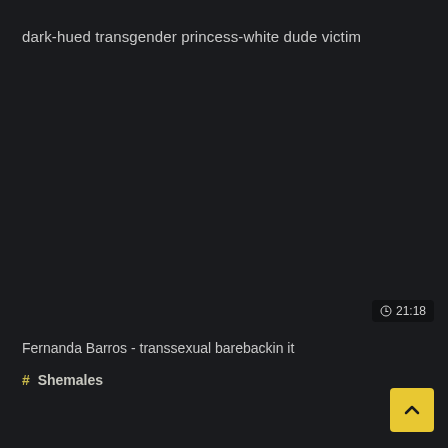dark-hued transgender princess-white dude victim
⊙ 21:18
Fernanda Barros - transsexual barebackin it
# Shemales